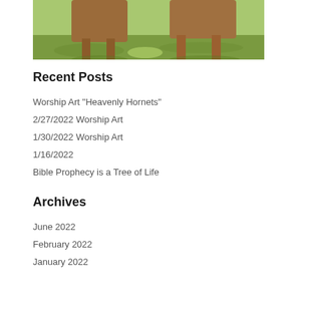[Figure (photo): Partial view of brown animals (likely horses or cattle) standing on green grass, cropped to show lower body/legs only]
Recent Posts
Worship Art “Heavenly Hornets”
2/27/2022 Worship Art
1/30/2022 Worship Art
1/16/2022
Bible Prophecy is a Tree of Life
Archives
June 2022
February 2022
January 2022